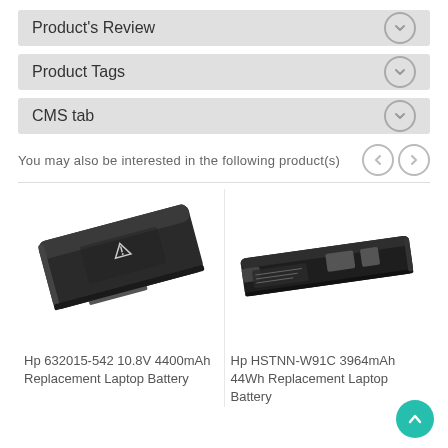Product's Review
Product Tags
CMS tab
You may also be interested in the following product(s)
[Figure (photo): Hp 632015-542 10.8V 4400mAh laptop battery, dark colored rectangular battery with connectors]
Hp 632015-542 10.8V 4400mAh Replacement Laptop Battery
[Figure (photo): Hp HSTNN-W91C 3964mAh 44Wh slim flat laptop battery]
Hp HSTNN-W91C 3964mAh 44Wh Replacement Laptop Battery